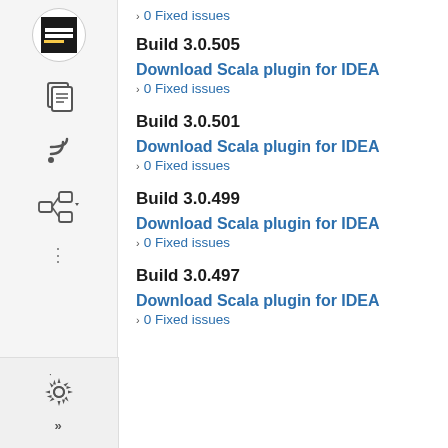› 0 Fixed issues
Build 3.0.505
Download Scala plugin for IDEA
› 0 Fixed issues
Build 3.0.501
Download Scala plugin for IDEA
› 0 Fixed issues
Build 3.0.499
Download Scala plugin for IDEA
› 0 Fixed issues
Build 3.0.497
Download Scala plugin for IDEA
› 0 Fixed issues